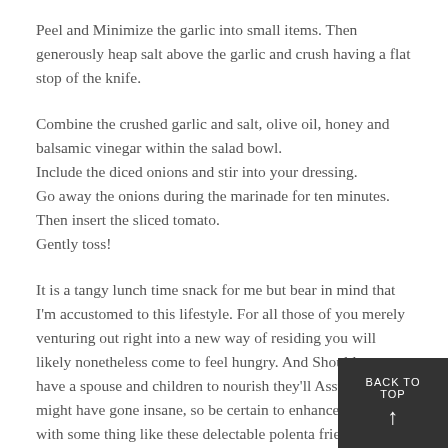Peel and Minimize the garlic into small items. Then generously heap salt above the garlic and crush having a flat stop of the knife.
Combine the crushed garlic and salt, olive oil, honey and balsamic vinegar within the salad bowl.
Include the diced onions and stir into your dressing.
Go away the onions during the marinade for ten minutes.
Then insert the sliced tomato.
Gently toss!
It is a tangy lunch time snack for me but bear in mind that I'm accustomed to this lifestyle. For all those of you merely venturing out right into a new way of residing you will likely nonetheless come to feel hungry. And Should you have a spouse and children to nourish they'll Assume you might have gone insane, so be certain to enhance the salad with some thing like these delectable polenta fries. This is certainly authentic straightforward